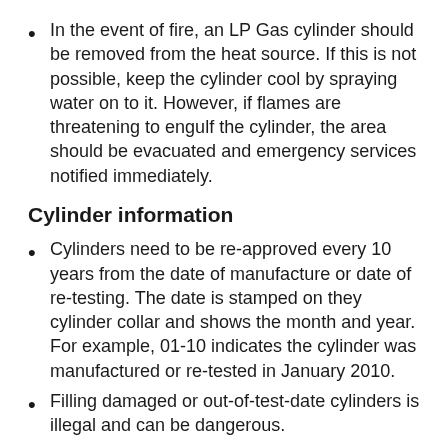In the event of fire, an LP Gas cylinder should be removed from the heat source. If this is not possible, keep the cylinder cool by spraying water on to it. However, if flames are threatening to engulf the cylinder, the area should be evacuated and emergency services notified immediately.
Cylinder information
Cylinders need to be re-approved every 10 years from the date of manufacture or date of re-testing. The date is stamped on they cylinder collar and shows the month and year. For example, 01-10 indicates the cylinder was manufactured or re-tested in January 2010.
Filling damaged or out-of-test-date cylinders is illegal and can be dangerous.